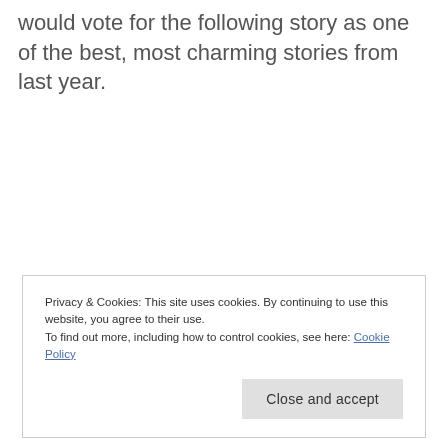would vote for the following story as one of the best, most charming stories from last year.
Privacy & Cookies: This site uses cookies. By continuing to use this website, you agree to their use.
To find out more, including how to control cookies, see here: Cookie Policy
Close and accept